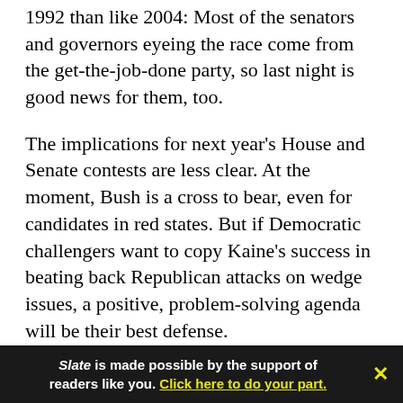1992 than like 2004: Most of the senators and governors eyeing the race come from the get-the-job-done party, so last night is good news for them, too.
The implications for next year's House and Senate contests are less clear. At the moment, Bush is a cross to bear, even for candidates in red states. But if Democratic challengers want to copy Kaine's success in beating back Republican attacks on wedge issues, a positive, problem-solving agenda will be their best defense.
Meanwhile, the unfortunate defeat of Ohio's
Slate is made possible by the support of readers like you. Click here to do your part.